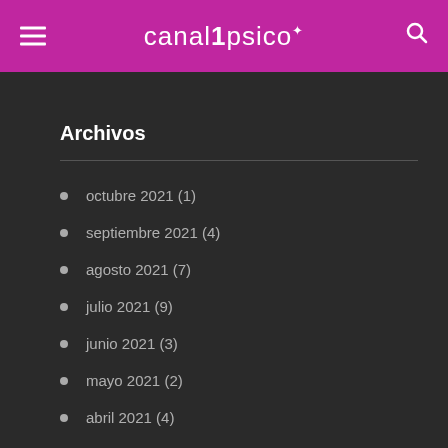canal1psico
Archivos
octubre 2021 (1)
septiembre 2021 (4)
agosto 2021 (7)
julio 2021 (9)
junio 2021 (3)
mayo 2021 (2)
abril 2021 (4)
marzo 2021 (16)